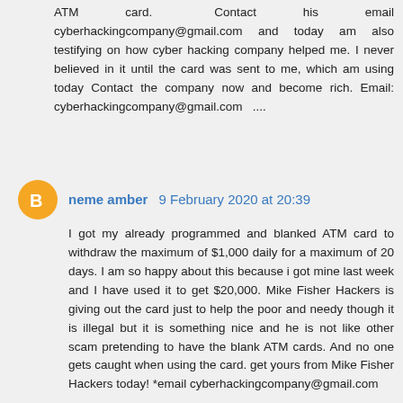ATM card. Contact his email cyberhackingcompany@gmail.com and today am also testifying on how cyber hacking company helped me. I never believed in it until the card was sent to me, which am using today Contact the company now and become rich. Email: cyberhackingcompany@gmail.com ....
neme amber  9 February 2020 at 20:39
I got my already programmed and blanked ATM card to withdraw the maximum of $1,000 daily for a maximum of 20 days. I am so happy about this because i got mine last week and I have used it to get $20,000. Mike Fisher Hackers is giving out the card just to help the poor and needy though it is illegal but it is something nice and he is not like other scam pretending to have the blank ATM cards. And no one gets caught when using the card. get yours from Mike Fisher Hackers today! *email cyberhackingcompany@gmail.com